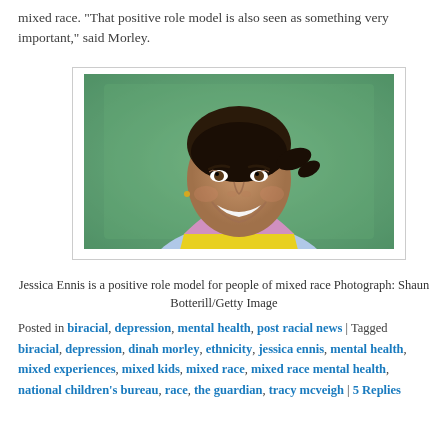mixed race. “That positive role model is also seen as something very important,” said Morley.
[Figure (photo): Portrait photo of Jessica Ennis smiling, wearing a yellow and blue athletic top, with a green background]
Jessica Ennis is a positive role model for people of mixed race Photograph: Shaun Botterill/Getty Image
Posted in biracial, depression, mental health, post racial news | Tagged biracial, depression, dinah morley, ethnicity, jessica ennis, mental health, mixed experiences, mixed kids, mixed race, mixed race mental health, national children’s bureau, race, the guardian, tracy mcveigh | 5 Replies